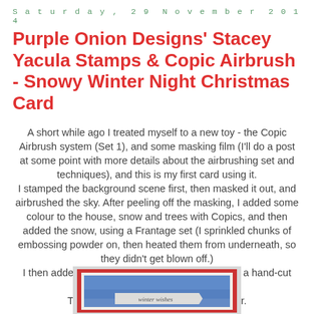Saturday, 29 November 2014
Purple Onion Designs' Stacey Yacula Stamps & Copic Airbrush - Snowy Winter Night Christmas Card
A short while ago I treated myself to a new toy - the Copic Airbrush system (Set 1), and some masking film (I'll do a post at some point with more details about the airbrushing set and techniques), and this is my first card using it.
I stamped the background scene first, then masked it out, and airbrushed the sky. After peeling off the masking, I added some colour to the house, snow and trees with Copics, and then added the snow, using a Frantage set (I sprinkled chunks of embossing powder on, then heated them from underneath, so they didn't get blown off.)
I then added some glitter to wet glue, and added a hand-cut bunny on foam pads.
The sentiment is on a Tim Holtz banner.
[Figure (photo): Partial view of a Christmas card with blue sky background, red border frame, white inner mat, with a Tim Holtz banner visible at the bottom showing cursive text 'winter wishes']